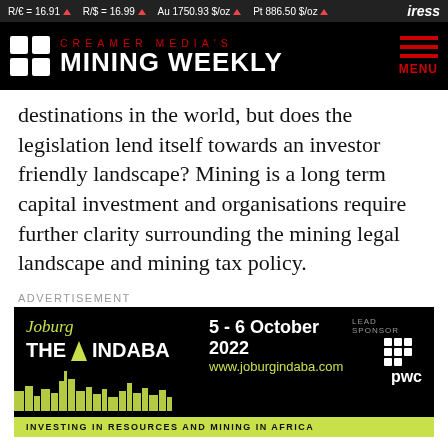R/€ = 16.91 ▲   R/$ = 16.99 ▲   Au 1750.93 $/oz ▲   Pt 886.50 $/oz ▲   iress
[Figure (logo): Creamer Media's Mining Weekly logo with grid icon, red and white text on black background, with MENU hamburger button]
destinations in the world, but does the legislation lend itself towards an investor friendly landscape? Mining is a long term capital investment and organisations require further clarity surrounding the mining legal landscape and mining tax policy.
ADVERTISEMENT
[Figure (infographic): Joburg The Indaba advertisement banner. Black background with yellow-green text. Event: 5 - 6 October 2022. Website: www.joburgindaba.com. Lead Sponsor: PwC. Bottom bar: INVESTING IN RESOURCES AND MINING IN AFRICA]
AJE will host the Zimbabwe Mining & Tax Law Briefing